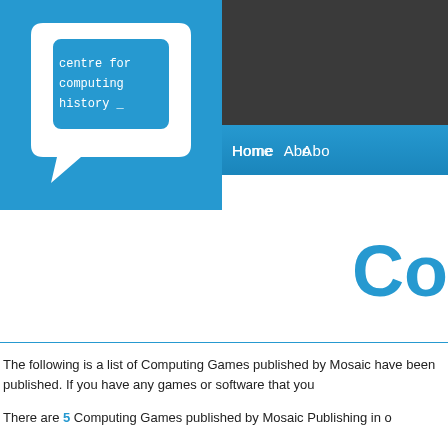[Figure (logo): Centre for Computing History logo — white speech bubble shape containing a blue rounded rectangle monitor outline with white monospace text reading 'centre for computing history _' on a blue background]
Home  Abo
Co
The following is a list of Computing Games published by Mosaic have been published. If you have any games or software that you
There are 5 Computing Games published by Mosaic Publishing in o